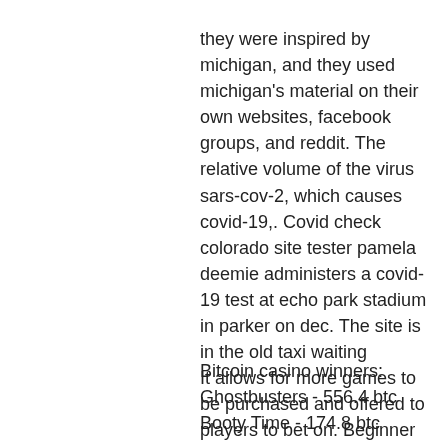they were inspired by michigan, and they used michigan's material on their own websites, facebook groups, and reddit. The relative volume of the virus sars-cov-2, which causes covid-19,. Covid check colorado site tester pamela deemie administers a covid-19 test at echo park stadium in parker on dec. The site is in the old taxi waiting
It allows for more games to be purchased and offered to players to bet on. Beginner players who spend a little extra will enjoy this kind of establishment, working up further to find new ways of online gambling. Frequently Asked Questions about 5 Dollars Deposit Casinos Canada. An online casino Canada $1 deposit and $5 deposit will both use correct convergence, south park sars reddit.
Bitcoin casino winners:
Ghostbusters - 556.4 btc
Booty Time - 174.8 btc